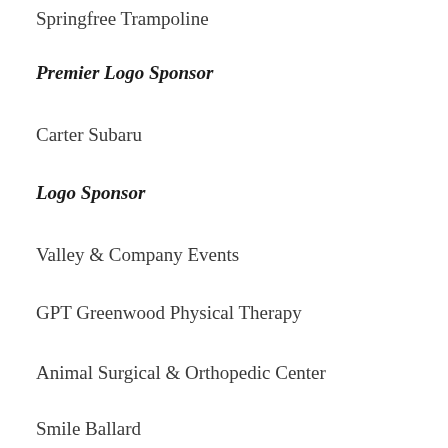Springfree Trampoline
Premier Logo Sponsor
Carter Subaru
Logo Sponsor
Valley & Company Events
GPT Greenwood Physical Therapy
Animal Surgical & Orthopedic Center
Smile Ballard